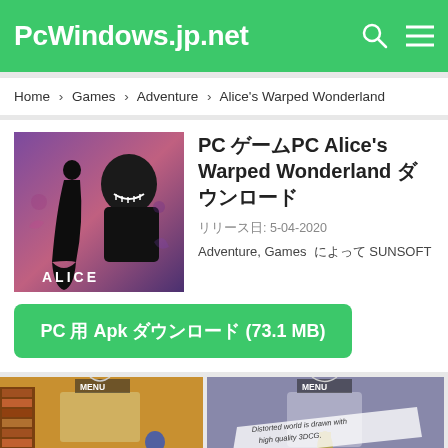PcWindows.jp.net
Home > Games > Adventure > Alice's Warped Wonderland
PC ゲームPC Alice's Warped Wonderland ダウンロード
リリース日: 5-04-2020
Adventure, Games によって SUNSOFT
PC 用 Apk ダウンロード (73.1 MB)
[Figure (screenshot): Alice game cover art showing silhouette of girl and hooded figure with text ALICE]
[Figure (screenshot): Game screenshot showing room with text: Let's be Alice and leave for adventure together!]
[Figure (screenshot): Game screenshot with MENU and text: Distorted world is drawn with high quality 3DCG.]